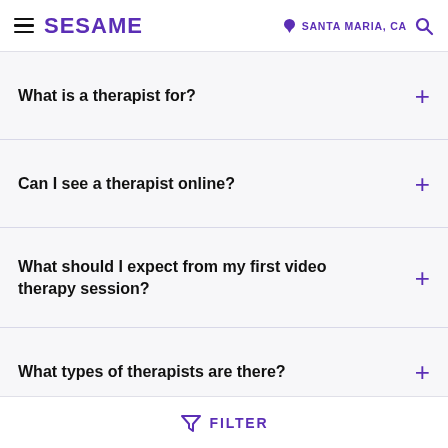SESAME | SANTA MARIA, CA
What is a therapist for?
Can I see a therapist online?
What should I expect from my first video therapy session?
What types of therapists are there?
FILTER